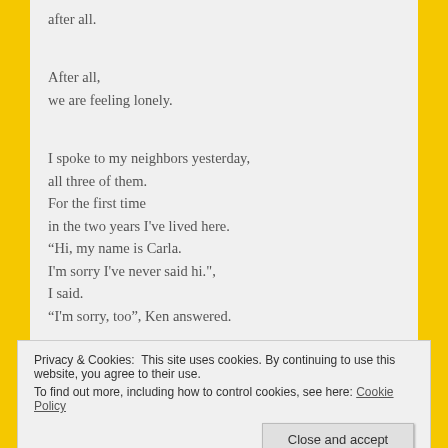after all.
After all,
we are feeling lonely.

I spoke to my neighbors yesterday,
all three of them.
For the first time
in the two years I've lived here.
“Hi, my name is Carla.
I'm sorry I've never said hi.”,
I said.
“I'm sorry, too”, Ken answered.
Privacy & Cookies: This site uses cookies. By continuing to use this website, you agree to their use.
To find out more, including how to control cookies, see here: Cookie Policy
But I haven’t gone back out